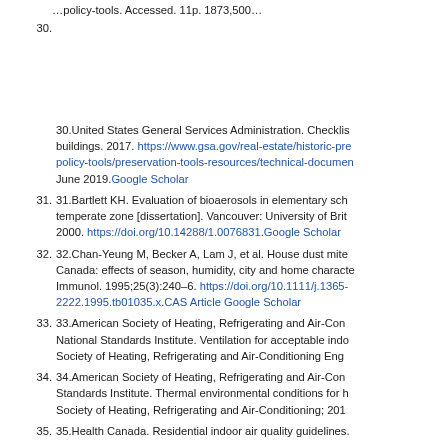30. United States General Services Administration. Checklist for preservation and maintenance of historic buildings. 2017. https://www.gsa.gov/real-estate/historic-preservation/historic-buildings/policy-tools/preservation-tools-resources/technical-documents Accessed June 2019. Google Scholar
31. Bartlett KH. Evaluation of bioaerosols in elementary schools in a temperate zone [dissertation]. Vancouver: University of British Columbia; 2000. https://doi.org/10.14288/1.0076831. Google Scholar
32. Chan-Yeung M, Becker A, Lam J, et al. House dust mite levels in Canada: effects of season, humidity, city and home characteristics. Clin Exp Immunol. 1995;25(3):240–6. https://doi.org/10.1111/j.1365-2222.1995.tb01035.x. CAS Article Google Scholar
33. American Society of Heating, Refrigerating and Air-Conditioning Engineers; National Standards Institute. Ventilation for acceptable indoor air quality. American Society of Heating, Refrigerating and Air-Conditioning Engineers; 2010.
34. American Society of Heating, Refrigerating and Air-Conditioning Engineers; National Standards Institute. Thermal environmental conditions for human occupancy. American Society of Heating, Refrigerating and Air-Conditioning; 2010.
35. Health Canada. Residential indoor air quality guidelines.